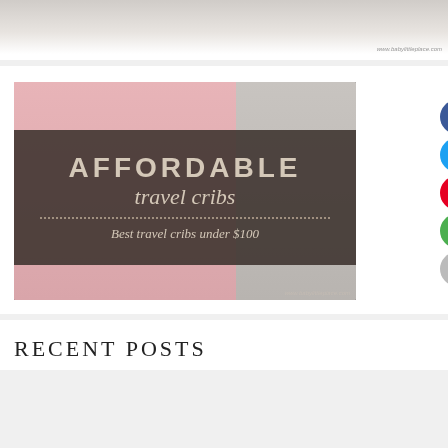[Figure (photo): Top partial image showing a baby product or crib scene, cropped at bottom with watermark www.babylittleplace.com]
[Figure (infographic): Travel crib promotional image with text 'AFFORDABLE travel cribs Best travel cribs under $100' overlaid on dark banner, pink background, black travel crib visible. Social share buttons on right side (Facebook, Twitter, Pinterest, Email, Print). Watermark visible at bottom right.]
RECENT POSTS